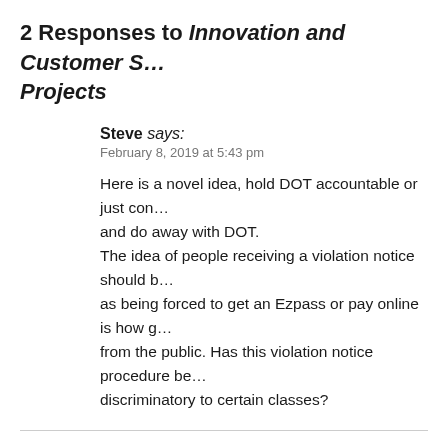2 Responses to Innovation and Customer S… Projects
Steve says:
February 8, 2019 at 5:43 pm
Here is a novel idea, hold DOT accountable or just con… and do away with DOT.
The idea of people receiving a violation notice should b… as being forced to get an Ezpass or pay online is how g… from the public. Has this violation notice procedure be… discriminatory to certain classes?
Chris Bowen says:
February 15, 2019 at 9:27 am
It's a good article but I am much more skeptical of the …